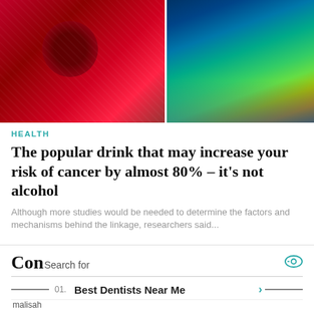[Figure (photo): Two photos side by side: left shows a red drink with large red ice cubes, right shows colorful abstract blue and green liquid or material close-up]
HEALTH
The popular drink that may increase your risk of cancer by almost 80% – it's not alcohol
Although more studies would be needed to determine the factors and mechanisms behind the linkage, researchers said...
Con Search for
01. Best Dentists Near Me
02. Grants For Military Spouses
Yahoo! Search | Sponsored